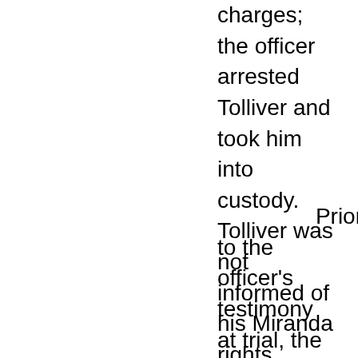charges; the officer arrested Tolliver and took him into custody. Tolliver was not informed of his Miranda rights during the on-scene investigation; Miranda warnings were administered upon arrival at the police station.
Prior to the officer's testimony at trial, the court held a Jackson-Denno hearing to determine the admissibility of Tolliver's inculpatory statements. The only witness at the hearing was the officer, who testified that he followed normal investigatory procedure for on-scene automobile incidents by questioning all parties involved in an attempt to decide whether arrest was proper. The trial court subsequently admitted